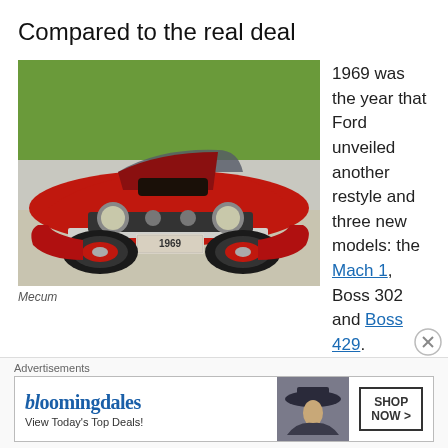Compared to the real deal
[Figure (photo): A red 1969 Ford Mustang with a license plate reading '1969', parked on a lot with green grass in the background. Front three-quarter view.]
Mecum
1969 was the year that Ford unveiled another restyle and three new models: the Mach 1, Boss 302 and Boss 429. Because of the lack of markings and small hood scoop, it's tough to tell which car this
[Figure (screenshot): Bloomingdale's advertisement banner. Text reads: bloomingdales / View Today's Top Deals! / SHOP NOW > with a model wearing a hat.]